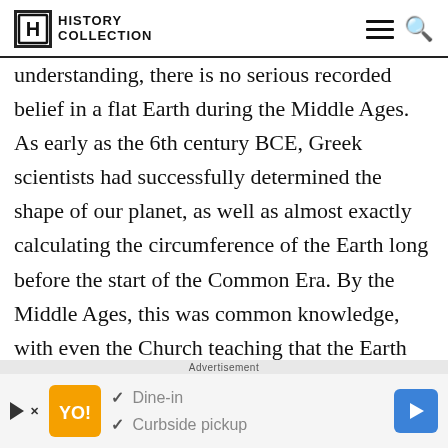History Collection
understanding, there is no serious recorded belief in a flat Earth during the Middle Ages. As early as the 6th century BCE, Greek scientists had successfully determined the shape of our planet, as well as almost exactly calculating the circumference of the Earth long before the start of the Common Era. By the Middle Ages, this was common knowledge, with even the Church teaching that the Earth was round
[Figure (other): Advertisement banner: restaurant delivery service ad with orange logo, dine-in and curbside pickup options, and blue arrow button]